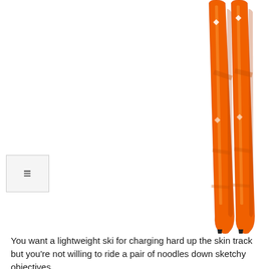[Figure (photo): Two bright orange skis photographed vertically against a white background. The skis are long and narrow, showing their top surface with a glossy orange finish and subtle branding/graphics. The tips (tops) of the skis appear at the upper portion and the tails at the bottom of the image. A hamburger menu icon button is visible on the left side.]
You want a lightweight ski for charging hard up the skin track but you're not willing to ride a pair of noodles down sketchy objectives